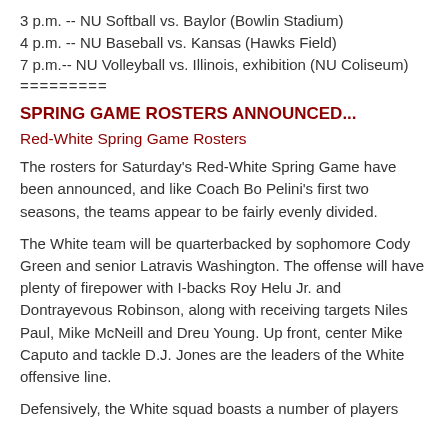3 p.m. -- NU Softball vs. Baylor (Bowlin Stadium)
4 p.m. -- NU Baseball vs. Kansas (Hawks Field)
7 p.m.-- NU Volleyball vs. Illinois, exhibition (NU Coliseum)
=========
SPRING GAME ROSTERS ANNOUNCED...
Red-White Spring Game Rosters
The rosters for Saturday's Red-White Spring Game have been announced, and like Coach Bo Pelini's first two seasons, the teams appear to be fairly evenly divided.
The White team will be quarterbacked by sophomore Cody Green and senior Latravis Washington. The offense will have plenty of firepower with I-backs Roy Helu Jr. and Dontrayevous Robinson, along with receiving targets Niles Paul, Mike McNeill and Dreu Young. Up front, center Mike Caputo and tackle D.J. Jones are the leaders of the White offensive line.
Defensively, the White squad boasts a number of players